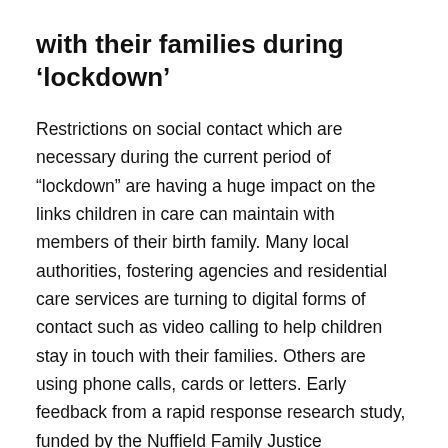with their families during ‘lockdown’
Restrictions on social contact which are necessary during the current period of “lockdown” are having a huge impact on the links children in care can maintain with members of their birth family. Many local authorities, fostering agencies and residential care services are turning to digital forms of contact such as video calling to help children stay in touch with their families. Others are using phone calls, cards or letters. Early feedback from a rapid response research study, funded by the Nuffield Family Justice Observatory, and carried out by Beth Neil and Ruth Copson at the University of East Anglia, is suggesting that the need to find new and creative ways of keeping children in touch with their families is bringing some positive benefits. For